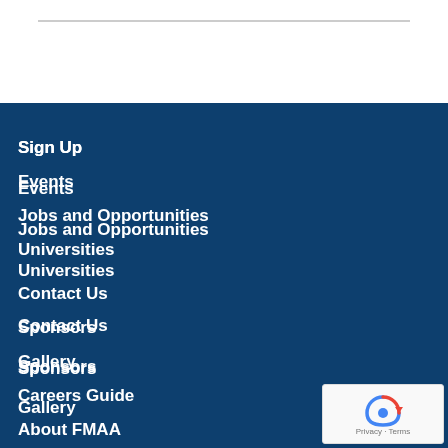Sign Up
Events
Jobs and Opportunities
Universities
Contact Us
Sponsors
Gallery
Careers Guide
About FMAA
[Figure (logo): reCAPTCHA badge with recycle-arrow logo and Privacy - Terms text]